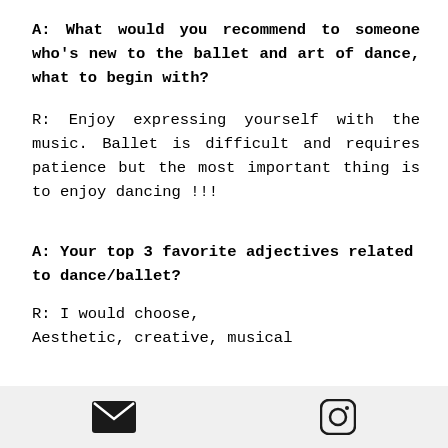A: What would you recommend to someone who's new to the ballet and art of dance, what to begin with?
R: Enjoy expressing yourself with the music. Ballet is difficult and requires patience but the most important thing is to enjoy dancing !!!
A: Your top 3 favorite adjectives related to dance/ballet?
R: I would choose,
Aesthetic, creative, musical
[Figure (other): Bottom navigation bar with envelope (email) icon and Instagram icon]